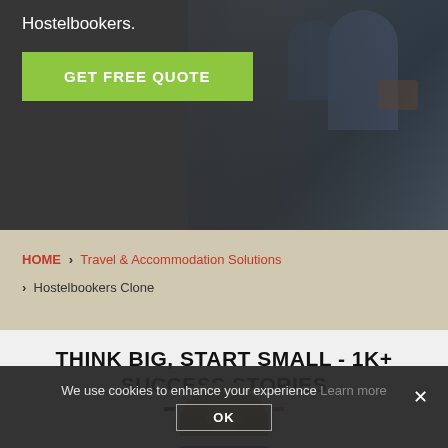Hostelbookers.
GET FREE QUOTE
[Figure (photo): Hero banner with traveler carrying camera and backpack, dark overlay on left side]
HOME > Travel & Accommodation Solutions > Hostelbookers Clone
THINK BIG, START SMALL - 1K+ SUCCESS STORIES
[Figure (photo): Circular profile photo of smiling man in blazer]
We use cookies to enhance your experience Learn more
OK